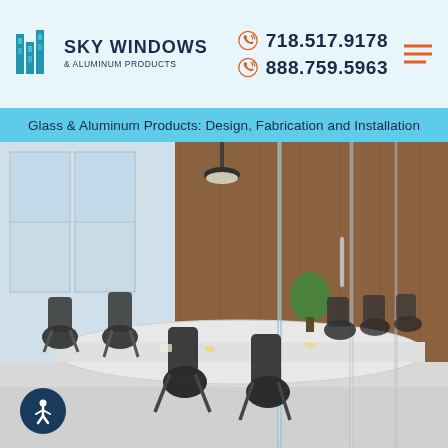SKY WINDOWS & ALUMINUM PRODUCTS | 718.517.9178 | 888.759.5963
Glass & Aluminum Products: Design, Fabrication and Installation
[Figure (photo): Modern conference room with glass partition walls, long white conference table, and black mesh office chairs, showing an open office interior design with glass walls and aluminum frames.]
[Figure (logo): Sky Windows & Aluminum Products logo with blue building icon]